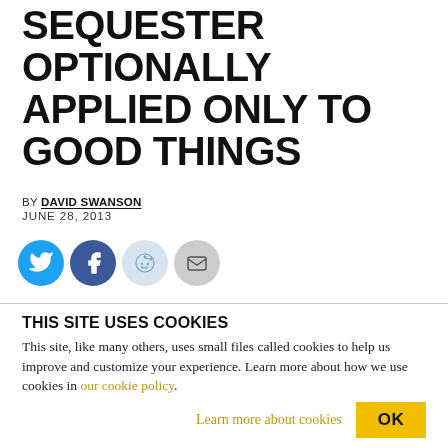SEQUESTER OPTIONALLY APPLIED ONLY TO GOOD THINGS
BY DAVID SWANSON
JUNE 28, 2013
[Figure (infographic): Social media sharing icons: Twitter (blue circle), Facebook (blue circle), Reddit (light blue circle), Email (grey circle)]
By David Swanson. This article was first published on War is a Crime.
THIS SITE USES COOKIES
This site, like many others, uses small files called cookies to help us improve and customize your experience. Learn more about how we use cookies in our cookie policy.
Learn more about cookies    OK